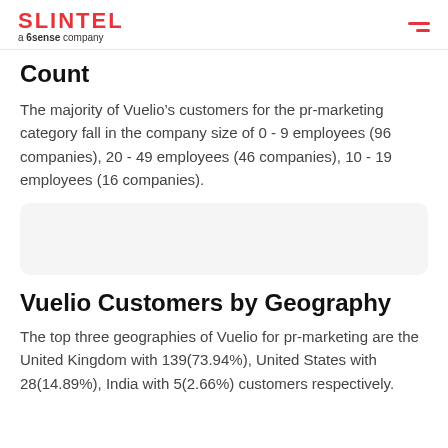SLINTEL a 6sense company
Count
The majority of Vuelio’s customers for the pr-marketing category fall in the company size of 0 - 9 employees (96 companies), 20 - 49 employees (46 companies), 10 - 19 employees (16 companies).
[Figure (other): Empty chart placeholder area with rounded rectangle background]
Vuelio Customers by Geography
The top three geographies of Vuelio for pr-marketing are the United Kingdom with 139(73.94%), United States with 28(14.89%), India with 5(2.66%) customers respectively.